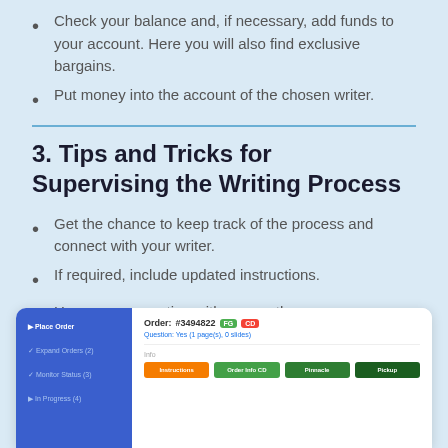Check your balance and, if necessary, add funds to your account. Here you will also find exclusive bargains.
Put money into the account of the chosen writer.
3. Tips and Tricks for Supervising the Writing Process
Get the chance to keep track of the process and connect with your writer.
If required, include updated instructions.
Have a conversation with your author.
[Figure (screenshot): Screenshot of a writing service platform showing Order #3494822 with FG and CD badges, a question about pages/slides, and action buttons: Instructions, Order Info CD, Pinnacle, Pickup]